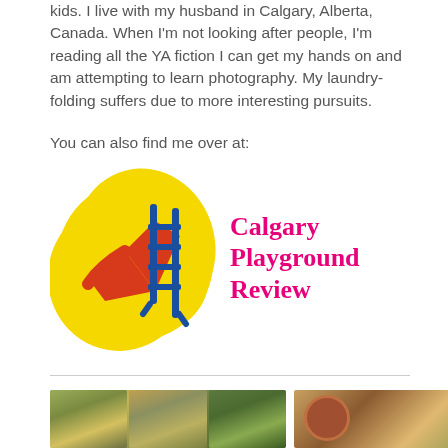kids. I live with my husband in Calgary, Alberta, Canada. When I'm not looking after people, I'm reading all the YA fiction I can get my hands on and am attempting to learn photography. My laundry-folding suffers due to more interesting pursuits.
You can also find me over at:
[Figure (logo): Calgary Playground Review logo with yellow splat background, red checkmark/slide and blue ladder, with pink handwritten text saying Calgary Playground Review]
[Figure (photo): Collage of food photos: salad dishes on the left, bowl with soup and lime slices on the right]